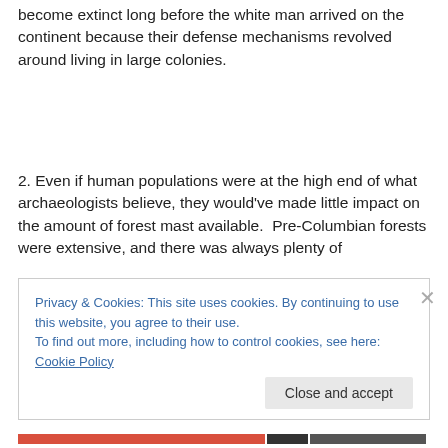become extinct long before the white man arrived on the continent because their defense mechanisms revolved around living in large colonies.
2. Even if human populations were at the high end of what archaeologists believe, they would've made little impact on the amount of forest mast available.  Pre-Columbian forests were extensive, and there was always plenty of forest mast for both humans and huge pigeon colonies
Privacy & Cookies: This site uses cookies. By continuing to use this website, you agree to their use.
To find out more, including how to control cookies, see here: Cookie Policy
Close and accept